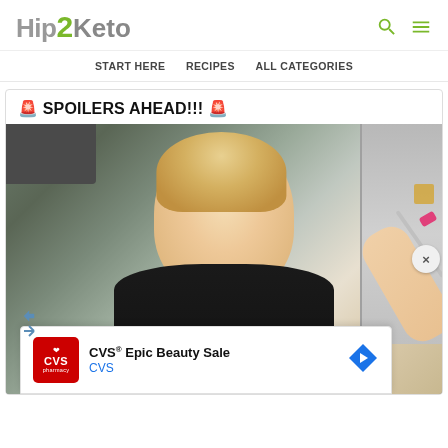[Figure (logo): Hip2Keto logo with stylized '2' in green]
START HERE   RECIPES   ALL CATEGORIES
🚨 SPOILERS AHEAD!!! 🚨
[Figure (photo): Woman in kitchen holding a spoon, looking excitedly at camera, with CVS Epic Beauty Sale advertisement overlay]